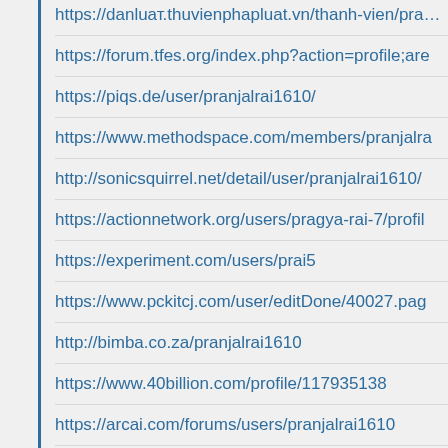https://danluат.thuvienphaрluat.vn/thanh-vien/pra…
https://forum.tfes.org/index.php?action=profile;are…
https://piqs.de/user/pranjalrai1610/
https://www.methodspace.com/members/pranjalra…
http://sonicsquirrel.net/detail/user/pranjalrai1610/
https://actionnetwork.org/users/pragya-rai-7/profil…
https://experiment.com/users/prai5
https://www.pckitcj.com/user/editDone/40027.pag…
http://bimba.co.za/pranjalrai1610
https://www.40billion.com/profile/117935138
https://arcai.com/forums/users/pranjalrai1610
http://foxsheets.com/UserProfile/tabid/57/userId/6…
https://www.nowarticles.com/profile/pranjalrai1610…